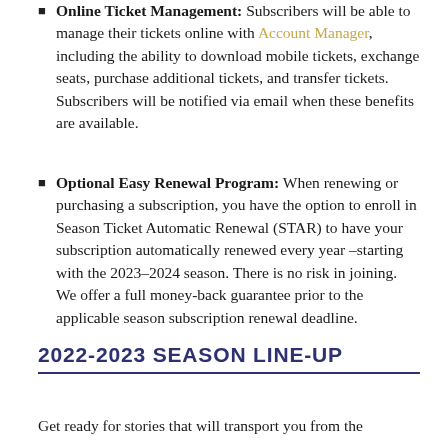Online Ticket Management: Subscribers will be able to manage their tickets online with Account Manager, including the ability to download mobile tickets, exchange seats, purchase additional tickets, and transfer tickets. Subscribers will be notified via email when these benefits are available.
Optional Easy Renewal Program: When renewing or purchasing a subscription, you have the option to enroll in Season Ticket Automatic Renewal (STAR) to have your subscription automatically renewed every year –starting with the 2023–2024 season. There is no risk in joining. We offer a full money-back guarantee prior to the applicable season subscription renewal deadline.
2022-2023 SEASON LINE-UP
Get ready for stories that will transport you from the